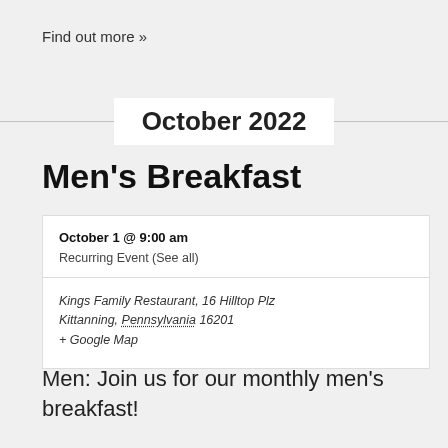Find out more »
October 2022
Men's Breakfast
| October 1 @ 9:00 am | Recurring Event (See all) |
| Kings Family Restaurant, 16 Hilltop Plz
Kittanning, Pennsylvania 16201
+ Google Map |  |
Men: Join us for our monthly men's breakfast!